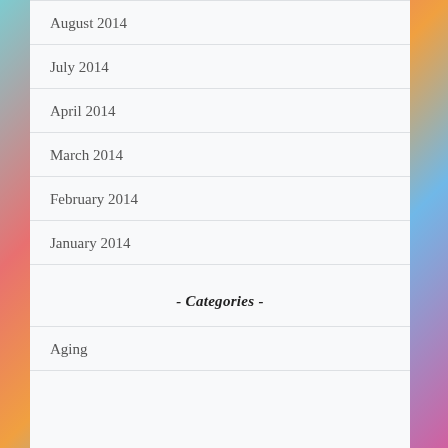August 2014
July 2014
April 2014
March 2014
February 2014
January 2014
- Categories -
Aging